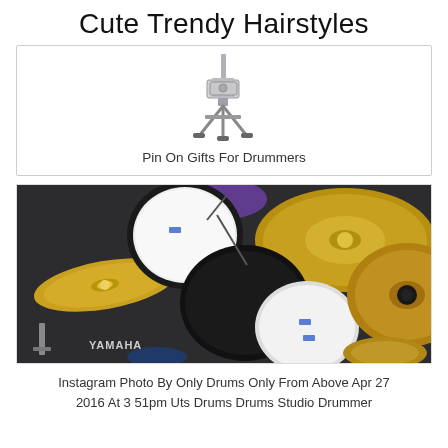Cute Trendy Hairstyles
[Figure (photo): A drum cymbal stand / phone holder hardware accessory photographed on white background]
Pin On Gifts For Drummers
[Figure (photo): Overhead aerial view of a Yamaha drum kit with cymbals, showing drums from above]
Instagram Photo By Only Drums Only From Above Apr 27 2016 At 3 51pm Uts Drums Drums Studio Drummer